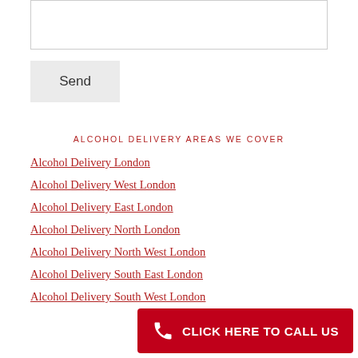[textarea input field]
Send
ALCOHOL DELIVERY AREAS WE COVER
Alcohol Delivery London
Alcohol Delivery West London
Alcohol Delivery East London
Alcohol Delivery North London
Alcohol Delivery North West London
Alcohol Delivery South East London
Alcohol Delivery South West London
CLICK HERE TO CALL US